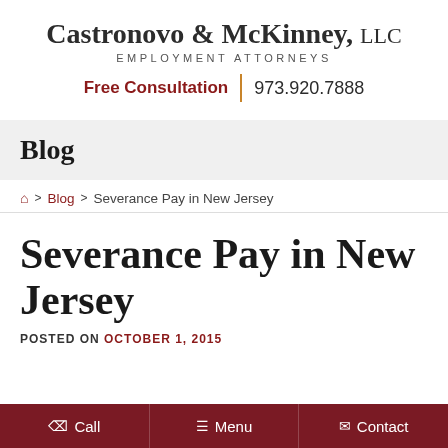Castronovo & McKinney, LLC
EMPLOYMENT ATTORNEYS
Free Consultation | 973.920.7888
Blog
🏠 > Blog > Severance Pay in New Jersey
Severance Pay in New Jersey
POSTED ON OCTOBER 1, 2015
Call | Menu | Contact